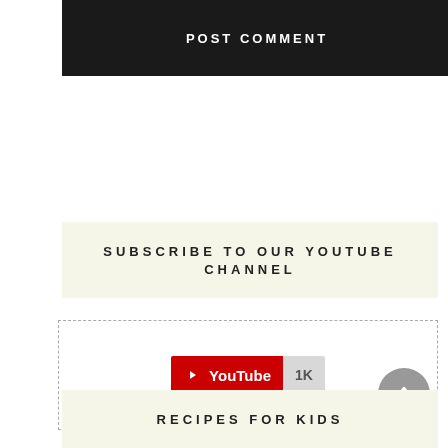POST COMMENT
SUBSCRIBE TO OUR YOUTUBE CHANNEL
[Figure (other): YouTube subscribe button widget with red YouTube logo area showing play icon and 'YouTube' text, and grey subscriber count badge showing '1K', inside a dashed border box]
RECIPES FOR KIDS